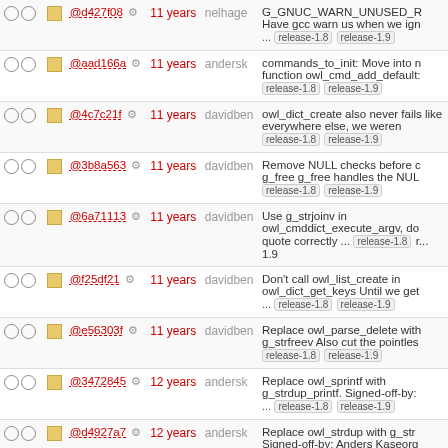|  |  |  | Hash |  | Age | Author | Message |
| --- | --- | --- | --- | --- | --- | --- | --- |
| ○ ○ | □ |  | @d427f08 | ⚙ | 11 years | nelhage | G_GNUC_WARN_UNUSED_R... Have gcc warn us when we ign ... release-1.8 release-1.9 |
| ○ ○ | □ |  | @aad166a | ⚙ | 11 years | andersk | commands_to_init: Move into n function owl_cmd_add_default: release-1.8 release-1.9 |
| ○ ○ | □ |  | @4c7c21f | ⚙ | 11 years | davidben | owl_dict_create also never fails like everywhere else, we weren release-1.8 release-1.9 |
| ○ ○ | □ |  | @3b8a563 | ⚙ | 11 years | davidben | Remove NULL checks before c g_free g_free handles the NUL release-1.8 release-1.9 |
| ○ ○ | □ |  | @6a71113 | ⚙ | 11 years | davidben | Use g_strjoinv in owl_cmddict_execute_argv, do quote correctly ... release-1.8 r... 1.9 |
| ○ ○ | □ |  | @f25df21 | ⚙ | 11 years | davidben | Don't call owl_list_create in owl_dict_get_keys Until we get ... release-1.8 release-1.9 |
| ○ ○ | □ |  | @e56303f | ⚙ | 11 years | davidben | Replace owl_parse_delete with g_strfreev Also cut the pointles release-1.8 release-1.9 |
| ○ ○ | □ |  | @3472845 | ⚙ | 12 years | andersk | Replace owl_sprintf with g_strdup_printf. Signed-off-by: ... release-1.8 release-1.9 |
| ○ ○ | □ |  | @d4927a7 | ⚙ | 12 years | andersk | Replace owl_strdup with g_str Signed-off-by: Anders Kaseorg release-1.8 release-1.9 |
| ○ ○ | □ |  | @ddbbcffa | ⚙ | 12 years | andersk | Replace owl_free with g_free. S off-by: Anders Kaseorg ... rele 1.8 release-1.9 |